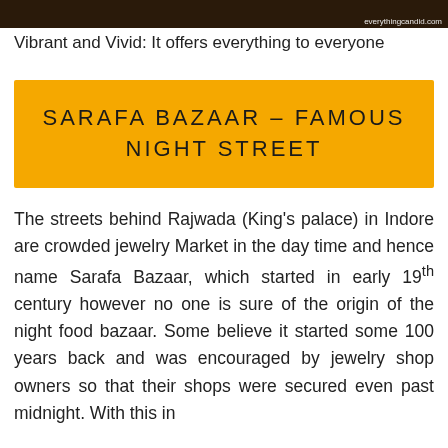[Figure (photo): A dark photo strip showing a crowded bazaar/street scene at the top of the page, with watermark 'everythingcandid.com' at bottom right]
Vibrant and Vivid: It offers everything to everyone
SARAFA BAZAAR – FAMOUS NIGHT STREET
The streets behind Rajwada (King's palace) in Indore are crowded jewelry Market in the day time and hence name Sarafa Bazaar, which started in early 19th century however no one is sure of the origin of the night food bazaar. Some believe it started some 100 years back and was encouraged by jewelry shop owners so that their shops were secured even past midnight. With this in